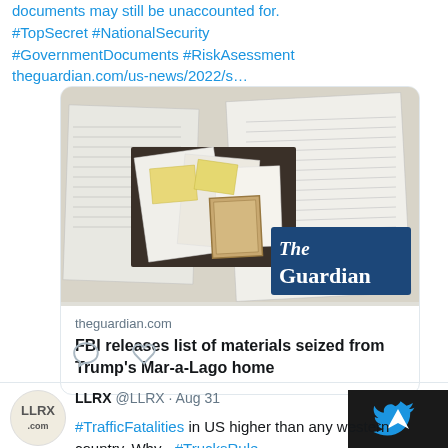documents may still be unaccounted for. #TopSecret #NationalSecurity #GovernmentDocuments #RiskAsessment theguardian.com/us-news/2022/s…
[Figure (screenshot): Link card preview showing The Guardian article with image of documents seized from Mar-a-Lago]
theguardian.com
FBI releases list of materials seized from Trump's Mar-a-Lago home
LLRX @LLRX · Aug 31
#TrafficFatalities in US higher than any western country. Why - #TrucksRule #CarsRule #Pedestrians and #Cylists die